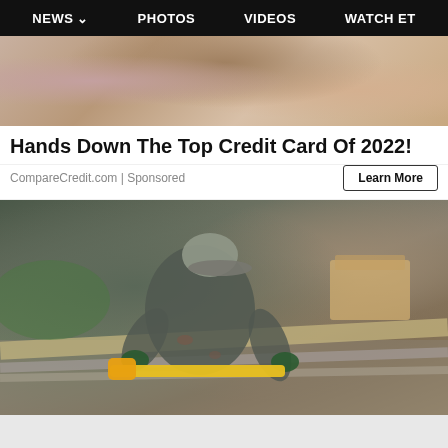NEWS  PHOTOS  VIDEOS  WATCH ET
[Figure (photo): Partial view of a person in a pink knit sweater, cropped at torso level]
Hands Down The Top Credit Card Of 2022!
CompareCredit.com | Sponsored
Learn More
[Figure (photo): A person in a gray hoodie and cap crouching down measuring lumber/gutter materials with a yellow tape measure, wearing green gloves]